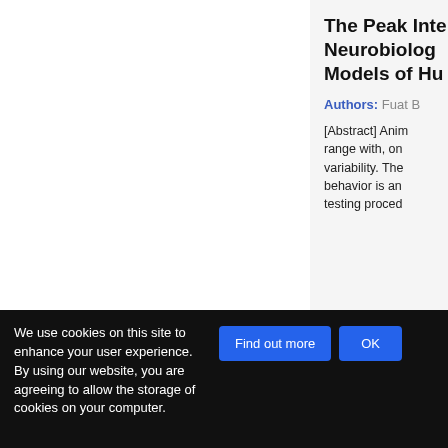The Peak Inte... Neurobiolog... Models of Hu...
Authors: Fuat B...
[Abstract] Anim... range with, on... variability. The... behavior is an... testing proced...
Measuring Bi...
We use cookies on this site to enhance your user experience. By using our website, you are agreeing to allow the storage of cookies on your computer.